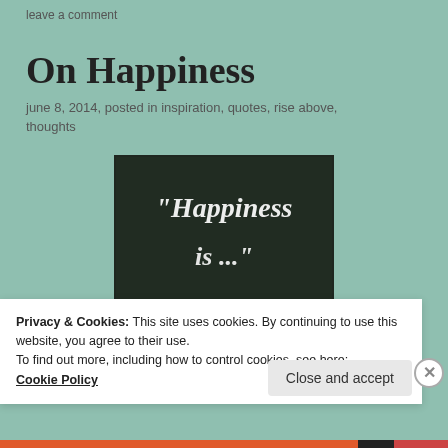leave a comment
On Happiness
june 8, 2014, posted in inspiration, quotes, rise above, thoughts
[Figure (photo): Chalkboard with chalk handwriting reading "Happiness is ..."]
Privacy & Cookies: This site uses cookies. By continuing to use this website, you agree to their use.
To find out more, including how to control cookies, see here: Cookie Policy
Close and accept